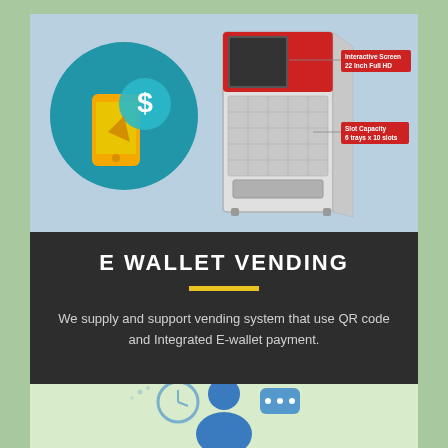[Figure (infographic): Left side: blue circle with mobile phone and dollar sign icon for e-wallet payment. Right side: white vending machine with red panel and red label tags: 'Interactive Screen 22 Inch Full HD' and 'Slot Capacity 6 trays x 10 slots'. Light blue background.]
E WALLET VENDING
We supply and support vending system that use QR code and Integrated E-wallet payment.
[Figure (illustration): Bottom partial illustration on a light green background showing a clock/time icon, a person figure, and a speech bubble, suggesting customer service or support.]